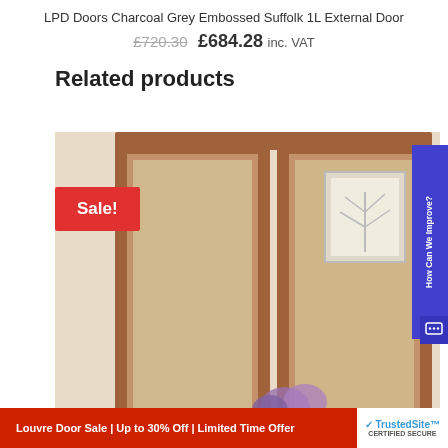LPD Doors Charcoal Grey Embossed Suffolk 1L External Door
£720.30  £684.28  inc. VAT
Related products
[Figure (photo): Photograph of a wooden door with glazed panels in a room setting, with a red 'Sale!' badge overlay in the top-left corner]
Louvre Door Sale | Up to 30% Off | Limited Time Offer